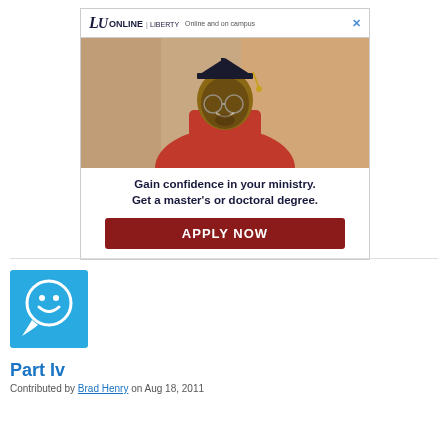[Figure (photo): Liberty University Online advertisement showing a graduate in cap and gown with text 'Gain confidence in your ministry. Get a master's or doctoral degree.' and an APPLY NOW button]
[Figure (logo): Blue square icon with a white smiley face speech bubble]
Part Iv
Contributed by Brad Henry on Aug 18, 2011